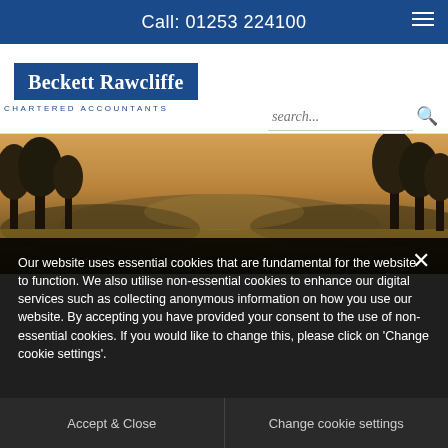Call: 01253 224100
[Figure (logo): Beckett Rawcliffe Chartered Accountants logo — white serif text on dark blue background with blue border, subtitle in blue on white]
[Figure (photo): Landscape photo of countryside with trees silhouetted against a warm golden-orange and amber sky]
Our website uses essential cookies that are fundamental for the website to function. We also utilise non-essential cookies to enhance our digital services such as collecting anonymous information on how you use our website. By accepting you have provided your consent to the use of non-essential cookies. If you would like to change this, please click on 'Change cookie settings'.
Accept & Close
Change cookie settings